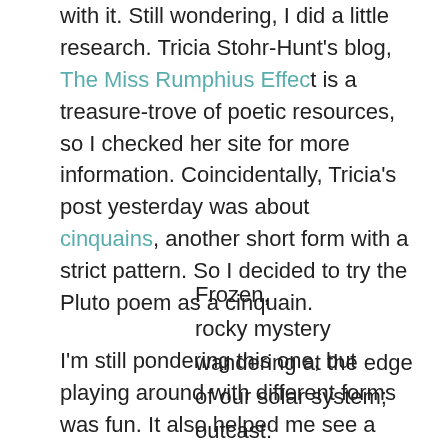with it. Still wondering, I did a little research. Tricia Stohr-Hunt's blog, The Miss Rumphius Effect is a treasure-trove of poetic resources, so I checked her site for more information. Coincidentally, Tricia's post yesterday was about cinquains, another short form with a strict pattern. So I decided to try the Pluto poem as a cinquain.
Frozen,
rocky mystery
wandering at the edge
of our solar system; outcast:
Pluto
I'm still pondering this one, but playing around with different forms was fun. It also helped me see a new possibility for a poem that's been challenging to write. In addition, a few implications for teaching